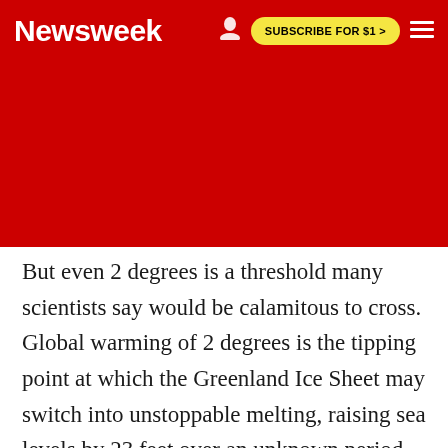Newsweek | SUBSCRIBE FOR $1 >
But even 2 degrees is a threshold many scientists say would be calamitous to cross. Global warming of 2 degrees is the tipping point at which the Greenland Ice Sheet may switch into unstoppable melting, raising sea levels by 23 feet over an unknown period